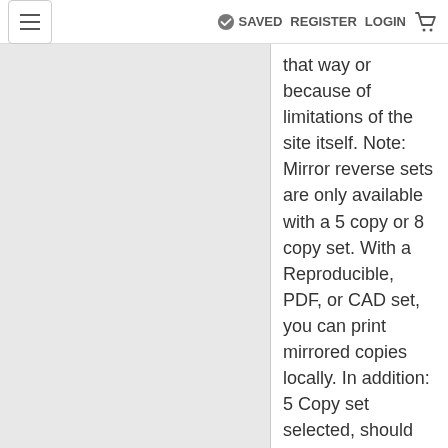≡  ✓ SAVED  REGISTER  LOGIN  🛒
that way or because of limitations of the site itself. Note: Mirror reverse sets are only available with a 5 copy or 8 copy set. With a Reproducible, PDF, or CAD set, you can print mirrored copies locally. In addition: 5 Copy set selected, should only allow 4 mirrored sets to be selected. 8 Copy set selected, should only allow 7 mirrored sets to be selected.